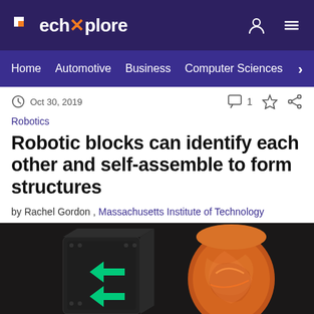TechXplore
Home  Automotive  Business  Computer Sciences
Oct 30, 2019
Robotics
Robotic blocks can identify each other and self-assemble to form structures
by Rachel Gordon , Massachusetts Institute of Technology
[Figure (photo): Photo of robotic blocks: one dark cube with green circuit markings and green directional arrows, and another irregular orange-marbled block, on a dark background]